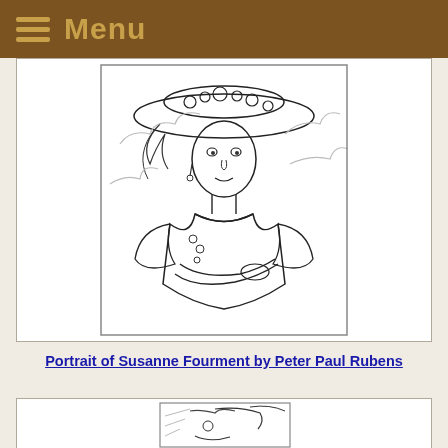Menu
[Figure (illustration): Line drawing illustration of a woman wearing a wide-brimmed hat decorated with flowers, with a flowing dress and clouds in the background — after the Portrait of Susanne Fourment by Peter Paul Rubens.]
Portrait of Susanne Fourment by Peter Paul Rubens
[Figure (illustration): Partial line drawing illustration of a second artwork, partially visible at the bottom of the page.]